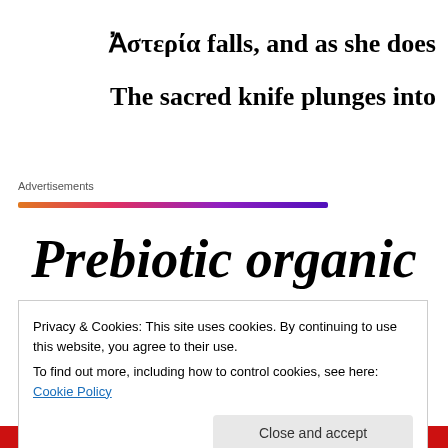Ἀστερία falls, and as she does
The sacred knife plunges into
Advertisements
[Figure (other): Gradient bar going from orange to pink to purple, used as advertisement separator]
Prebiotic organic
Privacy & Cookies: This site uses cookies. By continuing to use this website, you agree to their use. To find out more, including how to control cookies, see here: Cookie Policy
Close and accept